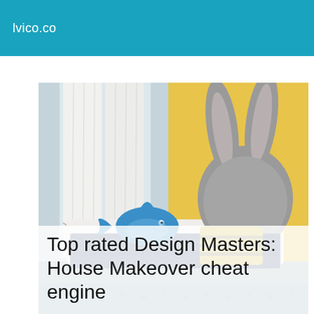lvico.co
[Figure (photo): A child's bedroom with yellow wall, sheer white curtains, a bed with a large grey bunny-ear headboard, blue whale stuffed animal, and yellow pillow on blue bedding, with a fluffy grey rug on the floor.]
Top rated Design Masters: House Makeover cheat engine